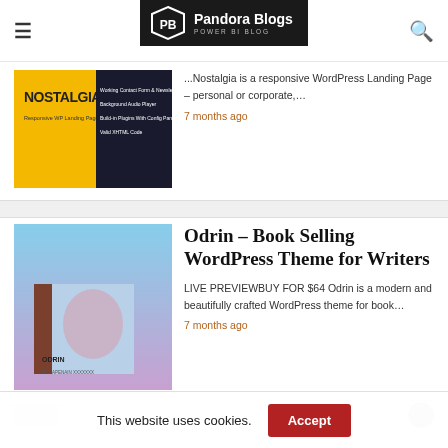Pandora Blogs — POWER BI BLOG
[Figure (screenshot): Nostalgia responsive WordPress Landing Page thumbnail — yellow background with dark text listing features]
...Nostalgia is a responsive WordPress Landing Page – personal or corporate,…
7 months ago
[Figure (photo): Odrin book selling WordPress theme — image of a book with artistic cover]
Odrin – Book Selling WordPress Theme for Writers
LIVE PREVIEWBUY FOR $64 Odrin is a modern and beautifully crafted WordPress theme for book…
7 months ago
This website uses cookies.
Accept